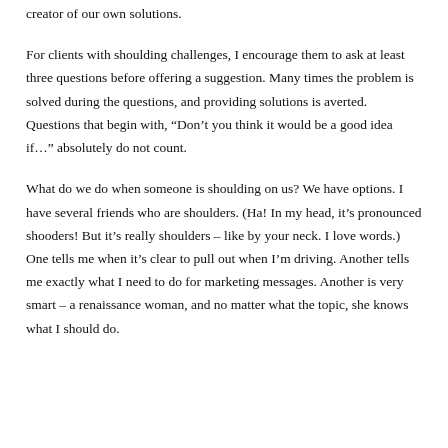creator of our own solutions.
For clients with shoulding challenges, I encourage them to ask at least three questions before offering a suggestion. Many times the problem is solved during the questions, and providing solutions is averted. Questions that begin with, “Don’t you think it would be a good idea if…” absolutely do not count.
What do we do when someone is shoulding on us? We have options. I have several friends who are shoulders. (Ha! In my head, it’s pronounced shooders! But it’s really shoulders – like by your neck. I love words.) One tells me when it’s clear to pull out when I’m driving. Another tells me exactly what I need to do for marketing messages. Another is very smart – a renaissance woman, and no matter what the topic, she knows what I should do.